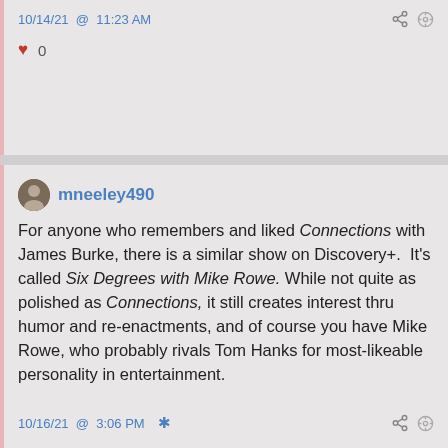10/14/21 @ 11:23 AM
♥ 0
mneeley490
For anyone who remembers and liked Connections with James Burke, there is a similar show on Discovery+. It's called Six Degrees with Mike Rowe. While not quite as polished as Connections, it still creates interest thru humor and re-enactments, and of course you have Mike Rowe, who probably rivals Tom Hanks for most-likeable personality in entertainment.
10/16/21 @ 3:06 PM ✱
♥ 0